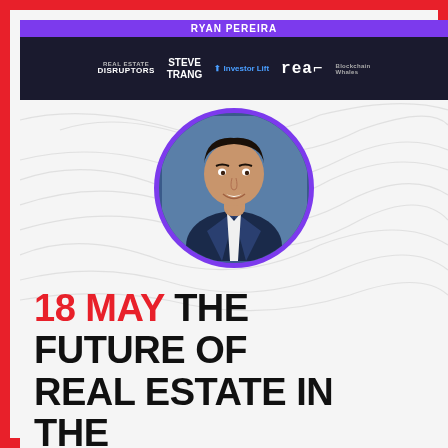RYAN PEREIRA
[Figure (logo): Sponsor logos row: Real Estate Disruptors, Steve Trang, InvestorLift, real, Blockchain Whales]
[Figure (photo): Headshot of a young man in a navy suit and white shirt, inside a purple circle frame, on a topographic pattern background]
18 MAY THE FUTURE OF REAL ESTATE IN THE